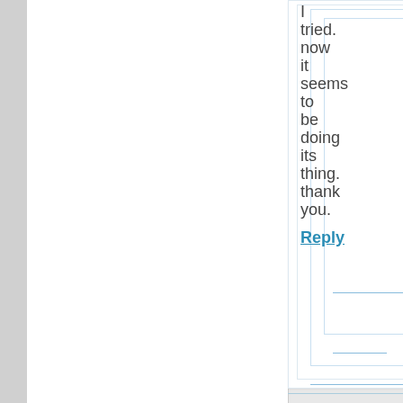I tried. now it seems to be doing its thing. thank you.
Reply